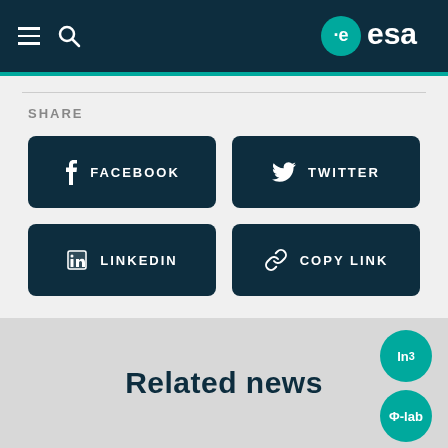ESA header with menu and logo
SHARE
FACEBOOK
TWITTER
LINKEDIN
COPY LINK
Related news